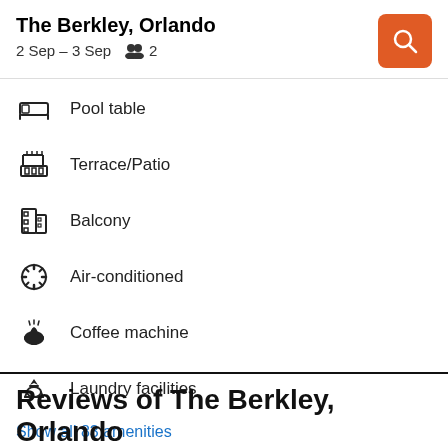The Berkley, Orlando
2 Sep – 3 Sep   👥 2
Pool table
Terrace/Patio
Balcony
Air-conditioned
Coffee machine
Laundry facilities
Show all 83 amenities
Reviews of The Berkley, Orlando